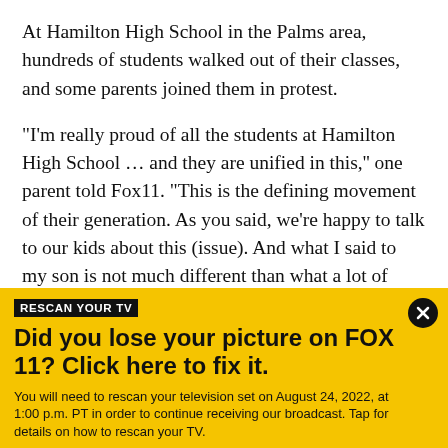At Hamilton High School in the Palms area, hundreds of students walked out of their classes, and some parents joined them in protest.
"I'm really proud of all the students at Hamilton High School … and they are unified in this,'' one parent told Fox11. "This is the defining movement of their generation. As you said, we're happy to talk to our kids about this (issue). And what I said to my son is not much different than what a lot of parents said to their kids: `Do what's right. Do what you have to do.'"
RESCAN YOUR TV
Did you lose your picture on FOX 11? Click here to fix it.
You will need to rescan your television set on August 24, 2022, at 1:00 p.m. PT in order to continue receiving our broadcast. Tap for details on how to rescan your TV.